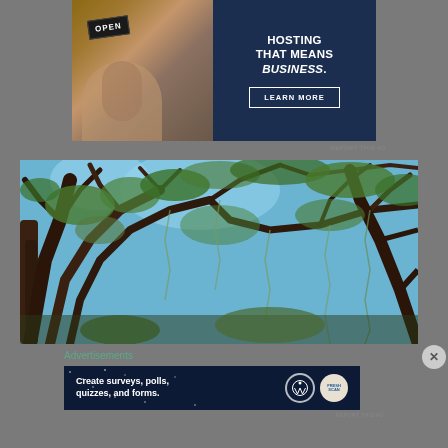[Figure (photo): Advertisement banner with photo of person holding an OPEN sign on the left, and dark navy right panel with text HOSTING THAT MEANS BUSINESS. and a LEARN MORE button]
REPORT THIS AD
[Figure (photo): Outdoor photograph looking up through tree canopy with twisted branches and green foliage against blue sky]
Advertisements
[Figure (photo): Advertisement banner with dark starry background, WordPress logo, and text: Create surveys, polls, quizzes, and forms.]